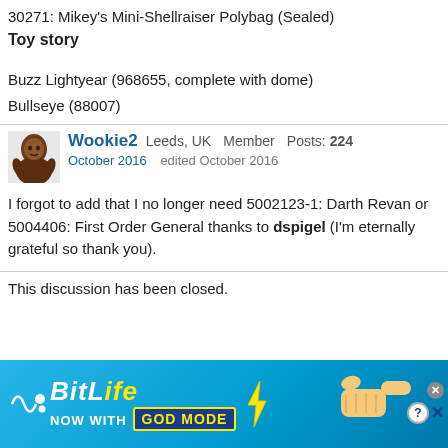30271: Mikey's Mini-Shellraiser Polybag (Sealed)
Toy story
Buzz Lightyear (968655, complete with dome)
Bullseye (88007)
Wookie2  Leeds, UK  Member  Posts: 224
October 2016  edited October 2016
I forgot to add that I no longer need 5002123-1: Darth Revan or 5004406: First Order General thanks to dspigel (I'm eternally grateful so thank you).
This discussion has been closed.
[Figure (illustration): BitLife advertisement banner: cyan/blue background with BitLife logo in white and yellow italic text, 'NOW WITH GOD MODE' tagline, lightning bolt, and illustrated hand pointing right. Close button with X and help/close icons in top right corner.]